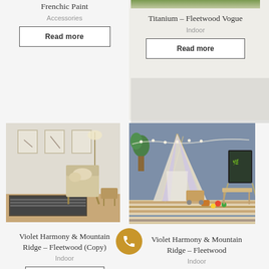Frenchic Paint
Accessories
Read more
[Figure (photo): Top right product photo showing green/olive upholstered furniture, partially visible at top of page]
Titanium – Fleetwood Vogue
Indoor
Read more
[Figure (photo): Interior room photo with woven chair, floor lamp, framed prints on wall, and black and white rug on wooden floor]
Violet Harmony & Mountain Ridge – Fleetwood (Copy)
Indoor
Read more
[Figure (photo): Children's room with teepee tent, colorful toys, chalkboard easel, and striped rug against blue-gray wall]
Violet Harmony & Mountain Ridge – Fleetwood
Indoor